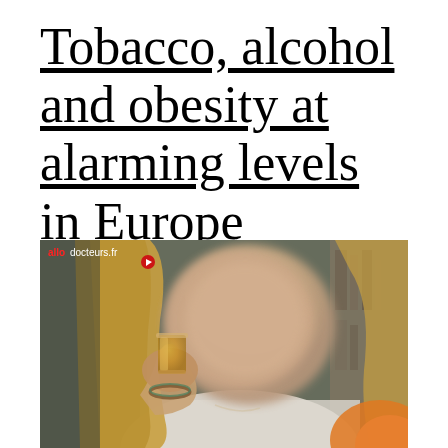Tobacco, alcohol and obesity at alarming levels in Europe
[Figure (photo): A young blonde woman drinking from a glass, face blurred for anonymity. Video still from allodocteurs.fr showing a woman consuming alcohol. Red play button icon and 'allodocteurs.fr' watermark visible in top-left corner.]